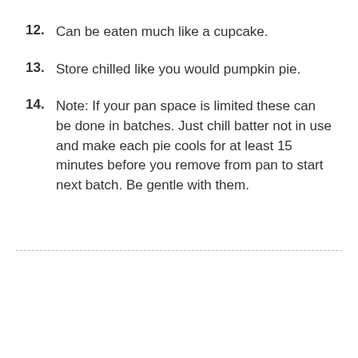12. Can be eaten much like a cupcake.
13. Store chilled like you would pumpkin pie.
14. Note: If your pan space is limited these can be done in batches. Just chill batter not in use and make each pie cools for at least 15 minutes before you remove from pan to start next batch. Be gentle with them.